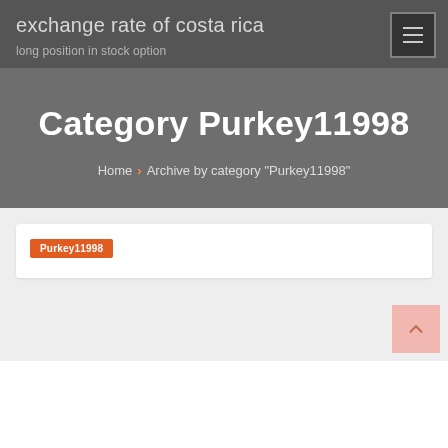exchange rate of costa rica
long position in stock option
Category Purkey11998
Home › Archive by category "Purkey11998"
Purkey11998